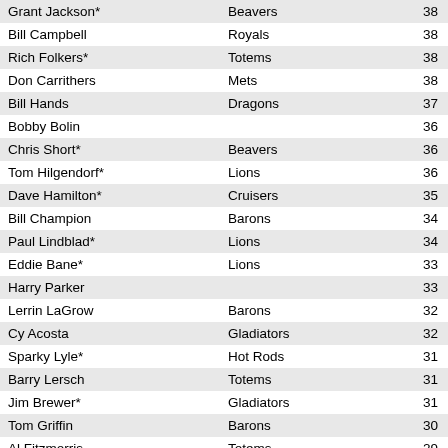| Name | Team | Value |
| --- | --- | --- |
| Grant Jackson* | Beavers | 38 |
| Bill Campbell | Royals | 38 |
| Rich Folkers* | Totems | 38 |
| Don Carrithers | Mets | 38 |
| Bill Hands | Dragons | 37 |
| Bobby Bolin |  | 36 |
| Chris Short* | Beavers | 36 |
| Tom Hilgendorf* | Lions | 36 |
| Dave Hamilton* | Cruisers | 35 |
| Bill Champion | Barons | 34 |
| Paul Lindblad* | Lions | 34 |
| Eddie Bane* | Lions | 33 |
| Harry Parker |  | 33 |
| Lerrin LaGrow | Barons | 32 |
| Cy Acosta | Gladiators | 32 |
| Sparky Lyle* | Hot Rods | 31 |
| Barry Lersch | Totems | 31 |
| Jim Brewer* | Gladiators | 31 |
| Tom Griffin | Barons | 30 |
| Al Fitzmorris | Totems | 29 |
| Ramon Hernandez* | Gladiators | 29 |
| Vicente Romo |  | 29 |
| Bill Parsons | Seagulls | 28 |